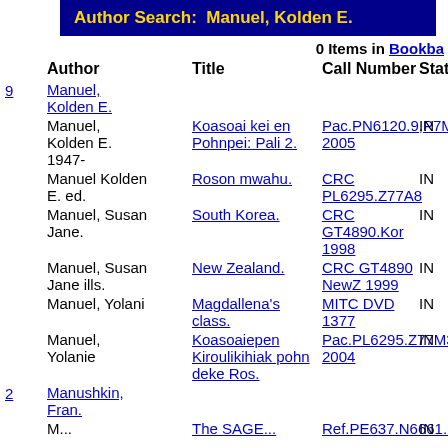Author Search:  Manuel, Kolden E.
0 Items in Bookbag
|  | Author | Title | Call Number | Status |
| --- | --- | --- | --- | --- |
| 9 | Manuel, Kolden E. |  |  |  |
|  | Manuel, Kolden E. 1947- | Koasoai kei en Pohnpei: Pali 2. | Pac.PN6120.9,P7M36 2005 | IN |
|  | Manuel Kolden E. ed. | Roson mwahu. | CRC PL6295.Z77A8 | IN |
|  | Manuel, Susan Jane. | South Korea. | CRC GT4890.Kor 1998 | IN |
|  | Manuel, Susan Jane ills. | New Zealand. | CRC GT4890 NewZ 1999 | IN |
|  | Manuel, Yolani | Magdallena's class. | MITC DVD 1377 | IN |
|  | Manuel, Yolanie | Koasoaiepen Kiroulikihiak pohn deke Ros. | Pac.PL6295.Z77M36 2004 | IN |
| 2 | Manushkin, Fran. |  |  |  |
|  | M... | The SAGE... | Ref.PE637.N6661... | IN |